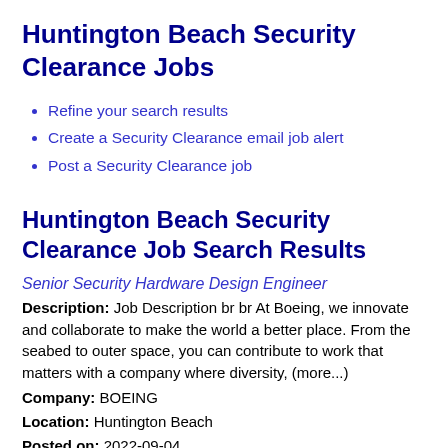Huntington Beach Security Clearance Jobs
Refine your search results
Create a Security Clearance email job alert
Post a Security Clearance job
Huntington Beach Security Clearance Job Search Results
Senior Security Hardware Design Engineer
Description: Job Description br br At Boeing, we innovate and collaborate to make the world a better place. From the seabed to outer space, you can contribute to work that matters with a company where diversity, (more...)
Company: BOEING
Location: Huntington Beach
Posted on: 2022-09-04